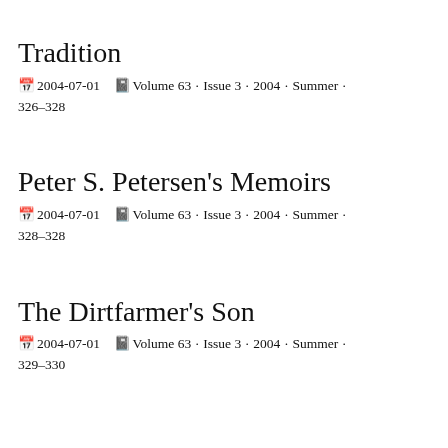Tradition
2004-07-01  Volume 63 · Issue 3 · 2004 · Summer · 326–328
Peter S. Petersen's Memoirs
2004-07-01  Volume 63 · Issue 3 · 2004 · Summer · 328–328
The Dirtfarmer's Son
2004-07-01  Volume 63 · Issue 3 · 2004 · Summer · 329–330